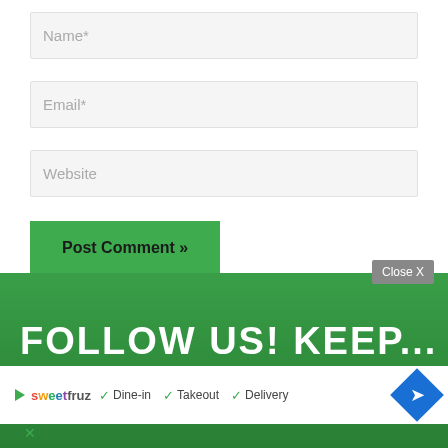Name*
Email*
Website
Post Comment »
FOLLOW US! KEEP ...
[Figure (screenshot): Ad bar showing SweetFruz logo with Dine-in, Takeout, Delivery checkmarks and a navigation diamond icon, plus a Close X button overlay]
Close X